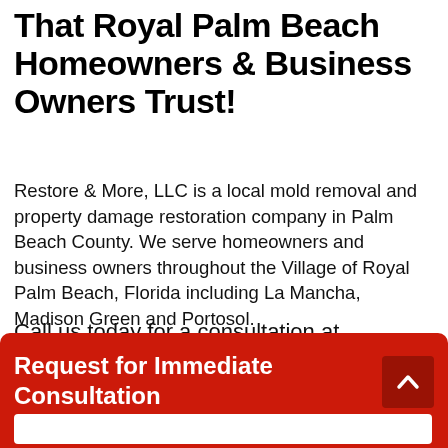That Royal Palm Beach Homeowners & Business Owners Trust!
Restore & More, LLC is a local mold removal and property damage restoration company in Palm Beach County. We serve homeowners and business owners throughout the Village of Royal Palm Beach, Florida including La Mancha, Madison Green and Portosol.
Call us today for a consultation at 561-541-5641
Request for Immediate Consultation